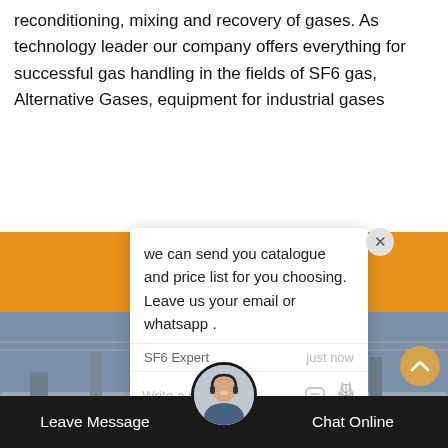reconditioning, mixing and recovery of gases. As technology leader our company offers everything for successful gas handling in the fields of SF6 gas, Alternative Gases, equipment for industrial gases
[Figure (screenshot): Chat popup overlay with message: 'we can send you catalogue and price list for you choosing. Leave us your email or whatsapp .' from SF6 Expert, with reply input field and icons. Also shows orange banner background, industrial photo background, green chat notification bubble, close X button, bottom footer bar with Leave Message and Chat Online buttons, and a customer support avatar.]